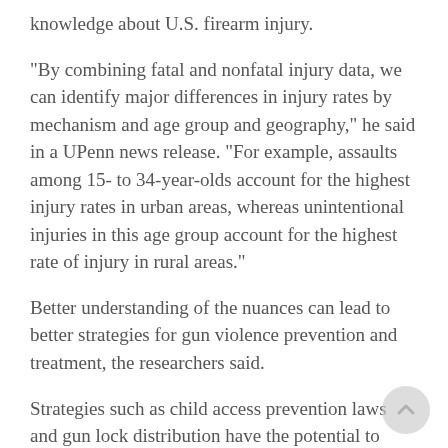knowledge about U.S. firearm injury.
"By combining fatal and nonfatal injury data, we can identify major differences in injury rates by mechanism and age group and geography," he said in a UPenn news release. "For example, assaults among 15- to 34-year-olds account for the highest injury rates in urban areas, whereas unintentional injuries in this age group account for the highest rate of injury in rural areas."
Better understanding of the nuances can lead to better strategies for gun violence prevention and treatment, the researchers said.
Strategies such as child access prevention laws and gun lock distribution have the potential to prevent many of these injuries, they pointed out, but their true impact will remain unknown if only deaths are counted.